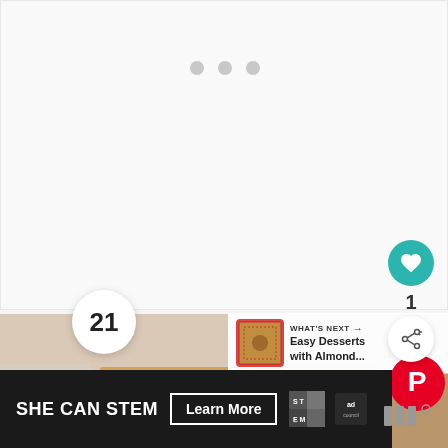[Figure (screenshot): Loading indicator with three grey dots on light grey background]
21
[Figure (photo): Close-up photo of stacked granola/seed bars with visible nuts and dried fruit]
[Figure (screenshot): Heart/favorite button (teal circle with white heart icon) showing count of 1, and share button below]
WHAT'S NEXT → Easy Desserts with Almond...
[Figure (screenshot): SHE CAN STEM advertisement banner with Learn More button, STEM logo, and Ad Council logo on dark background]